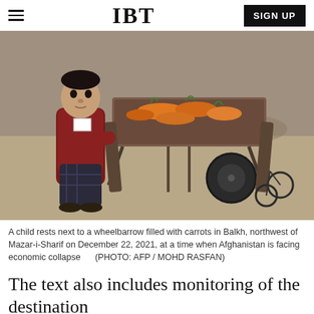IBT
[Figure (photo): A child rests next to a wheelbarrow filled with carrots in Balkh, northwest of Mazar-i-Sharif. The child is wearing a dark red jacket and plaid pants, leaning against the wheelbarrow handles. The setting appears to be a dirt field.]
A child rests next to a wheelbarrow filled with carrots in Balkh, northwest of Mazar-i-Sharif on December 22, 2021, at a time when Afghanistan is facing economic collapse      (PHOTO: AFP / MOHD RASFAN)
The text also includes monitoring of the destination